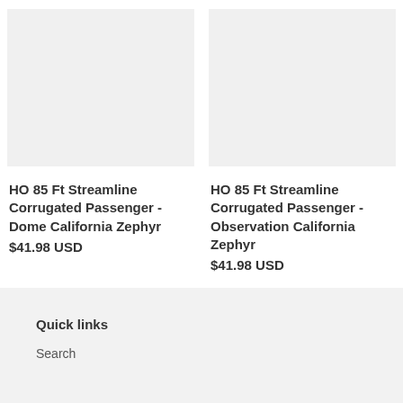[Figure (photo): Product image placeholder for HO 85 Ft Streamline Corrugated Passenger - Dome California Zephyr, light gray background]
HO 85 Ft Streamline Corrugated Passenger - Dome California Zephyr
$41.98 USD
[Figure (photo): Product image placeholder for HO 85 Ft Streamline Corrugated Passenger - Observation California Zephyr, light gray background]
HO 85 Ft Streamline Corrugated Passenger - Observation California Zephyr
$41.98 USD
Quick links
Search